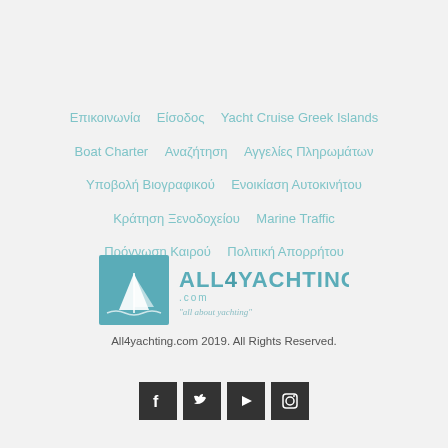Επικοινωνία  Είσοδος  Yacht Cruise Greek Islands  Boat Charter  Αναζήτηση  Αγγελίες Πληρωμάτων  Υποβολή Βιογραφικού  Ενοικίαση Αυτοκινήτου  Κράτηση Ξενοδοχείου  Marine Traffic  Πρόγνωση Καιρού  Πολιτική Απορρήτου
[Figure (logo): All4Yachting.com logo with sailboat graphic and tagline 'all about yachting']
All4yachting.com 2019. All Rights Reserved.
[Figure (other): Social media icons: Facebook, Twitter, YouTube, Instagram]